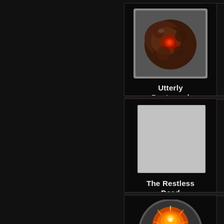[Figure (illustration): Game UI card showing 'Utterly Destroyed' with a dark red/brown blob icon]
Utterly Destroyed
[Figure (illustration): Game UI card showing 'The Restless Dead' with a grey square placeholder icon]
The Restless Dead
[Figure (illustration): Game UI card showing 'Bringer of Doom' with a red/orange fireball with blue candles icon]
Bringer of Doom
[Figure (illustration): Partial game UI card at the bottom, partially visible]